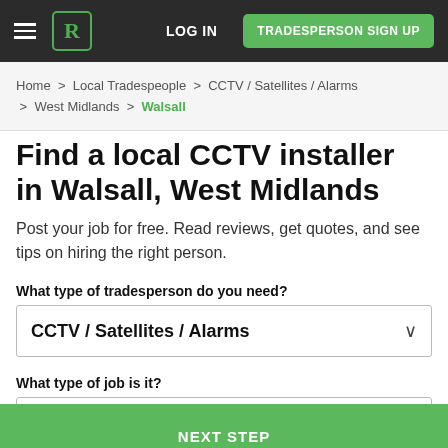LOG IN | TRADESPERSON SIGN UP
Home > Local Tradespeople > CCTV / Satellites / Alarms > West Midlands > Walsall
Find a local CCTV installer in Walsall, West Midlands
Post your job for free. Read reviews, get quotes, and see tips on hiring the right person.
What type of tradesperson do you need?
CCTV / Satellites / Alarms
What type of job is it?
CCTV Installation
NEXT STEP